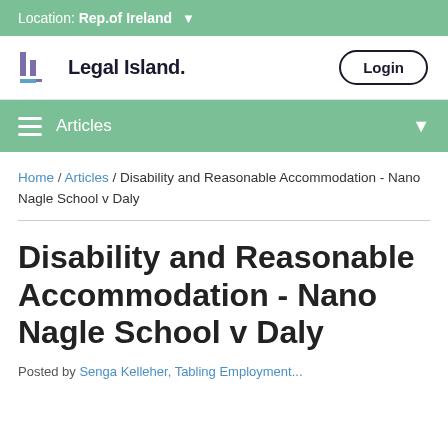Location: Rep.of Ireland
[Figure (logo): Legal Island logo with stylized bars and text]
Login
Articles
Home / Articles / Disability and Reasonable Accommodation - Nano Nagle School v Daly
Disability and Reasonable Accommodation - Nano Nagle School v Daly
Posted by...